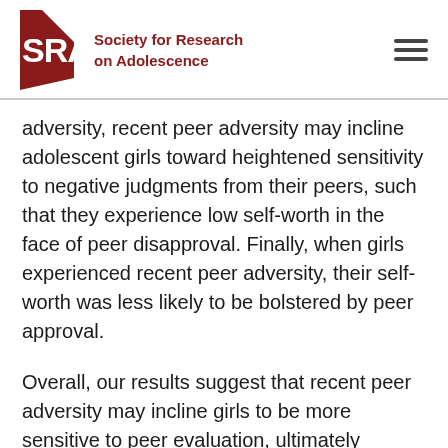Society for Research on Adolescence
adversity, recent peer adversity may incline adolescent girls toward heightened sensitivity to negative judgments from their peers, such that they experience low self-worth in the face of peer disapproval. Finally, when girls experienced recent peer adversity, their self-worth was less likely to be bolstered by peer approval.
Overall, our results suggest that recent peer adversity may incline girls to be more sensitive to peer evaluation, ultimately influencing how much they rely on peers to determine their self-worth